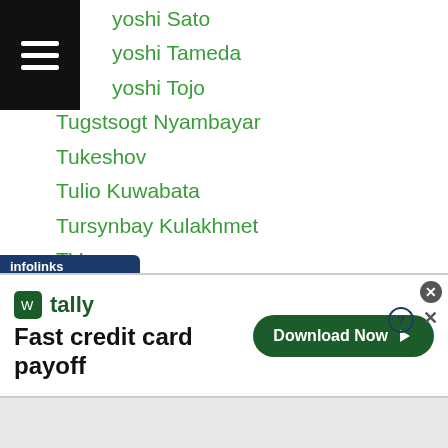yoshi Sato
yoshi Tameda
yoshi Tojo
Tugstsogt Nyambayar
Tukeshov
Tulio Kuwabata
Tursynbay Kulakhmet
TV
TV Details
TV Figures
TV Osaka
Tv Tokyo
Twitcasting
Ukyo Yoshigai
Ulugbek Mubinov
Ulugbek Sobirov
[Figure (screenshot): Advertisement banner for Tally app: 'Fast credit card payoff' with Download Now button]